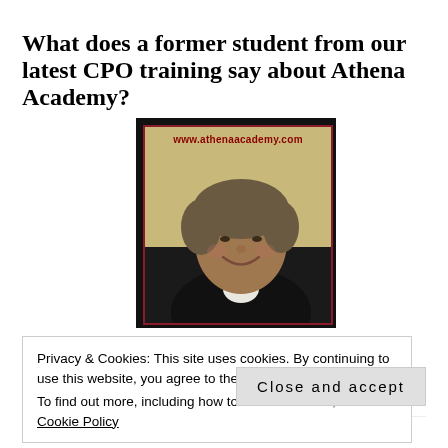What does a former student from our latest CPO training say about Athena Academy?
[Figure (photo): Headshot photograph of a woman smiling, with short grey-brown hair, wearing a black jacket over a white shirt. The photo has a dark border and a dark red/maroon inner border. The website URL www.athenaacademy.com appears in red text at the top of the photo.]
Privacy & Cookies: This site uses cookies. By continuing to use this website, you agree to their use.
To find out more, including how to control cookies, see here: Cookie Policy
Close and accept
it much richer in knowledge and experience. Having had